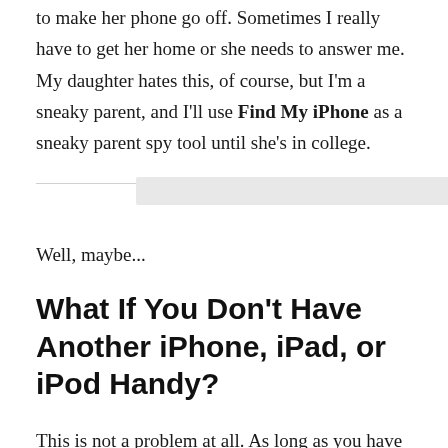Even if her iPhone is on silent, I use Find My iPhone to make her phone go off. Sometimes I really have to get her home or she needs to answer me. My daughter hates this, of course, but I'm a sneaky parent, and I'll use Find My iPhone as a sneaky parent spy tool until she's in college.
Well, maybe...
What If You Don't Have Another iPhone, iPad, or iPod Handy?
This is not a problem at all. As long as you have access to the internet and a computer, or even